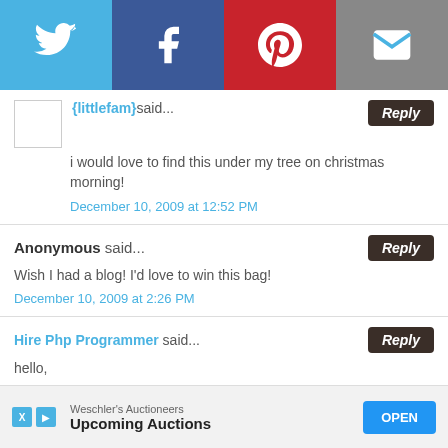[Figure (infographic): Social media sharing bar with Twitter, Facebook, Pinterest, and email icons on colored backgrounds]
{littlefam} said... Reply
i would love to find this under my tree on christmas morning!
December 10, 2009 at 12:52 PM
Anonymous said... Reply
Wish I had a blog! I'd love to win this bag!
December 10, 2009 at 2:26 PM
Hire Php Programmer said... Reply
hello,
wow..
all are so pretty.amazing collection.
[Figure (infographic): Advertisement banner for Weschler's Auctioneers Upcoming Auctions with OPEN button]